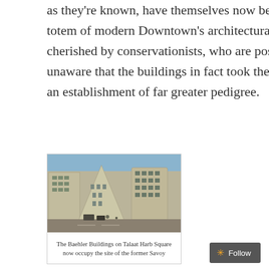as they're known, have themselves now become a totem of modern Downtown's architectural heritage, cherished by conservationists, who are possibly unaware that the buildings in fact took the place of an establishment of far greater pedigree.
[Figure (photo): Street-level photograph of the Baehler Buildings on Talaat Harb Square in Cairo, showing two large ornate multi-storey buildings flanking a triangular wedge building, with a busy road in the foreground.]
The Baehler Buildings on Talaat Harb Square now occupy the site of the former Savoy